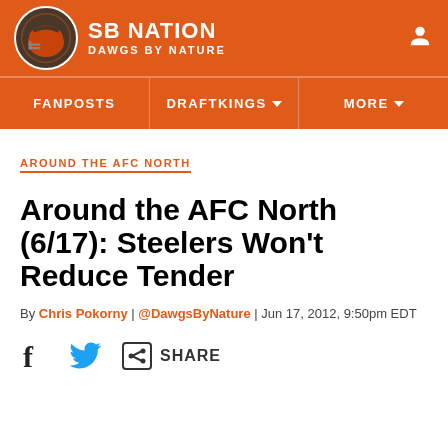SB NATION | DAWGS BY NATURE
AROUND THE AFC NORTH
Around the AFC North (6/17): Steelers Won't Reduce Tender
By Chris Pokorny | @DawgsByNature | Jun 17, 2012, 9:50pm EDT
SHARE